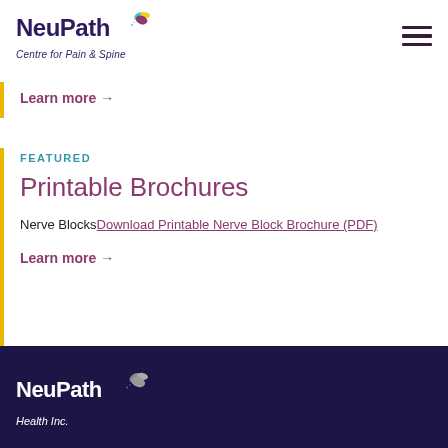NeuPath Centre for Pain & Spine
Learn more →
FEATURED
Printable Brochures
Nerve Blocks Download Printable Nerve Block Brochure (PDF)
Learn more →
NeuPath Health Inc.